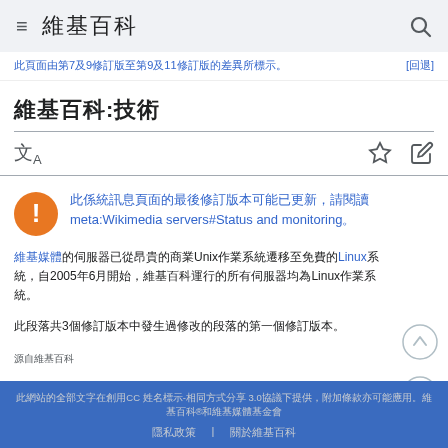≡ 維基百科 🔍
此頁面由第7及9修訂版至第9及11修訂版的差異所標示。[回退]
維基百科:技術
文A ☆ ✏
此係統訊息頁面的最後修訂版本可能已更新，請閱讀meta:Wikimedia servers#Status and monitoring。
維基媒體的伺服器已從昂貴的商業Unix作業系統遷移至免費的Linux系統，自2005年6月開始，維基百科運行的所有伺服器均為Linux作業系統。
此段落共3個修訂版本中發生過修改的段落的第一個修訂版本。
源自維基百科，網際網路上的自由百科全書，此網站的全部文字在創用CC 姓名標示-相同方式分享 3.0協議下
隱私政策 | 關於維基百科